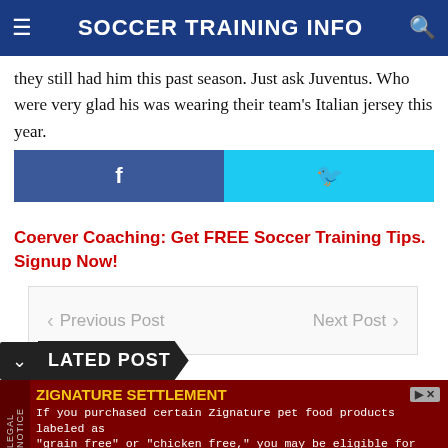SOCCER TRAINING INFO
they still had him this past season. Just ask Juventus. Who were very glad his was wearing their team's Italian jersey this year.
[Figure (other): Facebook and Twitter share buttons]
Coerver Coaching: Get FREE Soccer Training Tips. Signup Now!
[Figure (other): Previous Post / Next Post navigation box]
LATED POST
[Figure (other): ZIGNATURE SETTLEMENT ad banner: If you purchased certain Zignature pet food products labeled as "grain free" or "chicken free," you may be eligible for benefits]